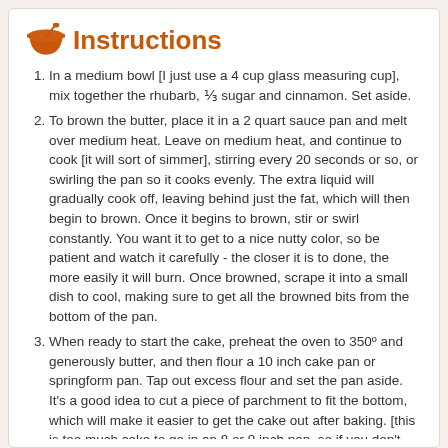Instructions
In a medium bowl [I just use a 4 cup glass measuring cup], mix together the rhubarb, ⅓ sugar and cinnamon. Set aside.
To brown the butter, place it in a 2 quart sauce pan and melt over medium heat. Leave on medium heat, and continue to cook [it will sort of simmer], stirring every 20 seconds or so, or swirling the pan so it cooks evenly. The extra liquid will gradually cook off, leaving behind just the fat, which will then begin to brown. Once it begins to brown, stir or swirl constantly. You want it to get to a nice nutty color, so be patient and watch it carefully - the closer it is to done, the more easily it will burn. Once browned, scrape it into a small dish to cool, making sure to get all the browned bits from the bottom of the pan.
When ready to start the cake, preheat the oven to 350º and generously butter, and then flour a 10 inch cake pan or springform pan. Tap out excess flour and set the pan aside. It's a good idea to cut a piece of parchment to fit the bottom, which will make it easier to get the cake out after baking. [this is too much cake to go in an 8 or 9 inch pan, so if you don't have a 10 inch pan, use two 9 inch pie plates, or two large bread pans]
When the butter is at room temperature, place it in the bowl of a stand mixer, or a regular mixing bowl, if using a hand mixer.
Cream the butter briefly, and then beat in the sugar.